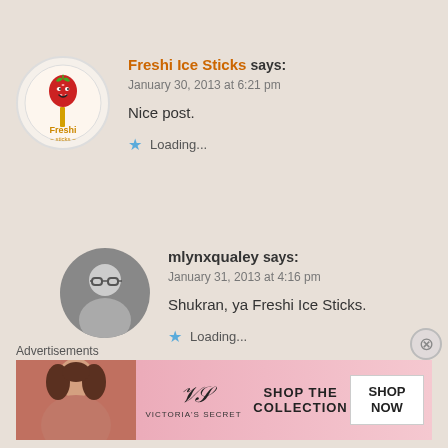Freshi Ice Sticks says: January 30, 2013 at 6:21 pm
Nice post.
★ Loading...
[Figure (logo): Freshi Ice Sticks circular logo with strawberry character on a stick]
mlynxqualey says: January 31, 2013 at 4:16 pm
Shukran, ya Freshi Ice Sticks.
★ Loading...
[Figure (photo): Black and white circular avatar photo of a person wearing glasses]
Advertisements
[Figure (infographic): Victoria's Secret advertisement banner: SHOP THE COLLECTION | SHOP NOW button]